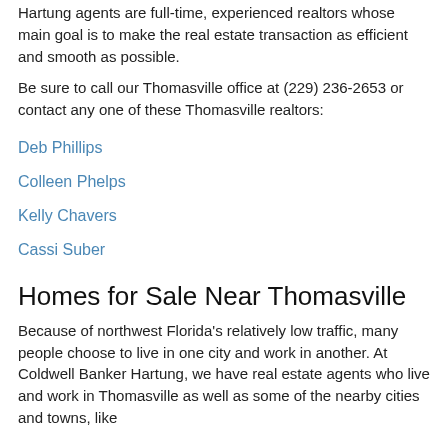Hartung agents are full-time, experienced realtors whose main goal is to make the real estate transaction as efficient and smooth as possible.
Be sure to call our Thomasville office at (229) 236-2653 or contact any one of these Thomasville realtors:
Deb Phillips
Colleen Phelps
Kelly Chavers
Cassi Suber
Homes for Sale Near Thomasville
Because of northwest Florida's relatively low traffic, many people choose to live in one city and work in another. At Coldwell Banker Hartung, we have real estate agents who live and work in Thomasville as well as some of the nearby cities and towns, like